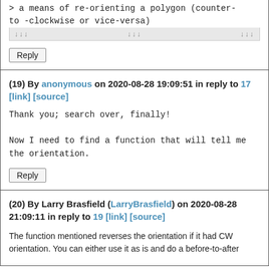a means of re-orienting a polygon (counter-clockwise or vice-versa)
Reply
(19) By anonymous on 2020-08-28 19:09:51 in reply to 17 [link] [source]
Thank you; search over, finally!

Now I need to find a function that will tell me the orientation.
Reply
(20) By Larry Brasfield (LarryBrasfield) on 2020-08-28 21:09:11 in reply to 19 [link] [source]
The function mentioned reverses the orientation if it had CW orientation. You can either use it as is and do a before-to-after